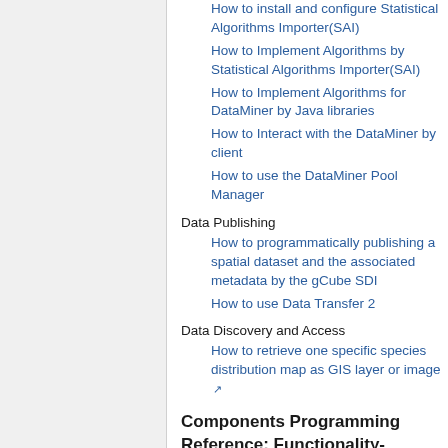How to install and configure Statistical Algorithms Importer(SAI)
How to Implement Algorithms by Statistical Algorithms Importer(SAI)
How to Implement Algorithms for DataMiner by Java libraries
How to Interact with the DataMiner by client
How to use the DataMiner Pool Manager
Data Publishing
How to programmatically publishing a spatial dataset and the associated metadata by the gCube SDI
How to use Data Transfer 2
Data Discovery and Access
How to retrieve one specific species distribution map as GIS layer or image
Components Programming Reference: Functionality-oriented View